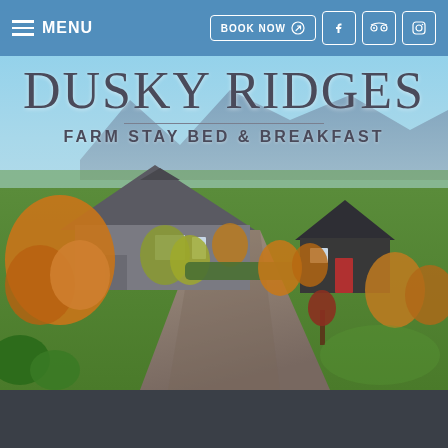MENU
DUSKY RIDGES
FARM STAY BED & BREAKFAST
[Figure (photo): Aerial/elevated view of a farm stay property with two dark-colored buildings, golden-leafed autumn trees, a gravel driveway, manicured green lawn, and mountain range visible in the background under a blue sky.]